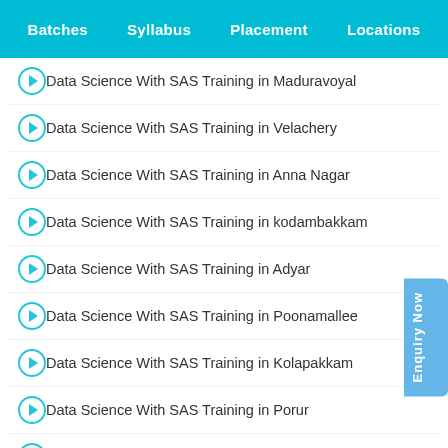Batches  Syllabus  Placement  Locations
Data Science With SAS Training in Maduravoyal
Data Science With SAS Training in Velachery
Data Science With SAS Training in Anna Nagar
Data Science With SAS Training in kodambakkam
Data Science With SAS Training in Adyar
Data Science With SAS Training in Poonamallee
Data Science With SAS Training in Kolapakkam
Data Science With SAS Training in Porur
Data Science With SAS Training in Mowlivakkam
Data Science With SAS Training in T.Nagar
Data Science With SAS Training in Vadapalani
Data Science With SAS Training in Thiruvanmiyur